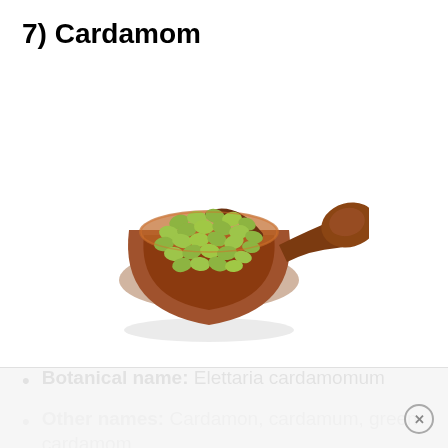7) Cardamom
[Figure (photo): A wooden scoop/ladle filled with green cardamom pods, photographed on a white background.]
Botanical name: Elettaria cardamomum
Other names: Cardamon, cardamum, green cardamom